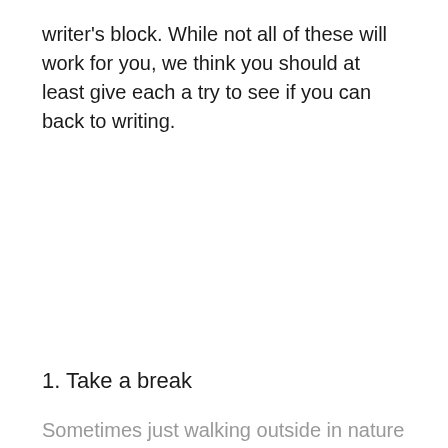writer's block. While not all of these will work for you, we think you should at least give each a try to see if you can back to writing.
1.  Take a break
Sometimes just walking outside in nature for a